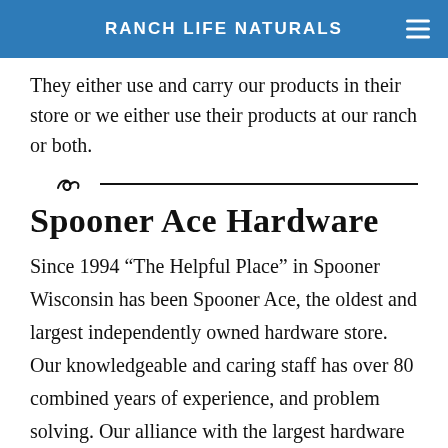RANCH LIFE NATURALS
They either use and carry our products in their store or we either use their products at our ranch or both.
Spooner Ace Hardware
Since 1994 “The Helpful Place” in Spooner Wisconsin has been Spooner Ace, the oldest and largest independently owned hardware store. Our knowledgeable and caring staff has over 80 combined years of experience, and problem solving. Our alliance with the largest hardware wholesaler gives us access to an enormous variety of quality products. By listening to our valued customers we have added Valspar, Cabot, Benjamin Moore and Clark & Kensington to our Award